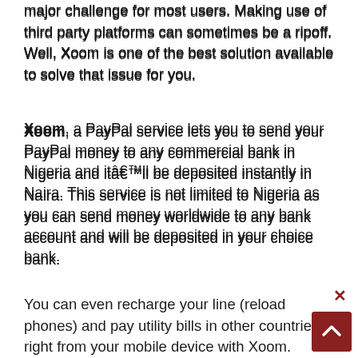major challenge for most users. Making use of third party platforms can sometimes be a ripoff. Well, Xoom is one of the best solution available to solve that issue for you.
Xoom, a PayPal service lets you to send your PayPal money to any commercial bank in Nigeria and it’ll be deposited instantly in Naira. This service is not limited to Nigeria as you can send money worldwide to any bank account and will be deposited in your choice bank.
You can even recharge your line (reload phones) and pay utility bills in other countries right from your mobile device with Xoom.
Advertisement...
FCMB Easy Account: Your Phone Number Is Your Account Number
Table of Interests